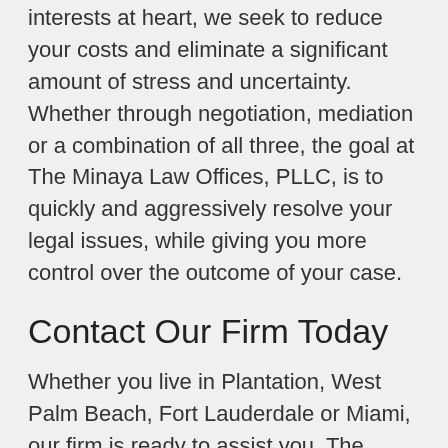interests at heart, we seek to reduce your costs and eliminate a significant amount of stress and uncertainty. Whether through negotiation, mediation or a combination of all three, the goal at The Minaya Law Offices, PLLC, is to quickly and aggressively resolve your legal issues, while giving you more control over the outcome of your case.
Contact Our Firm Today
Whether you live in Plantation, West Palm Beach, Fort Lauderdale or Miami, our firm is ready to assist you. The Minaya Law Offices, PLLC, serves all counties in South Florida, including Broward County, Palm Beach County and Miami-Dade County. We can be reached by phone during office hours, 8:30 a.m. to 5:30 p.m. Monday